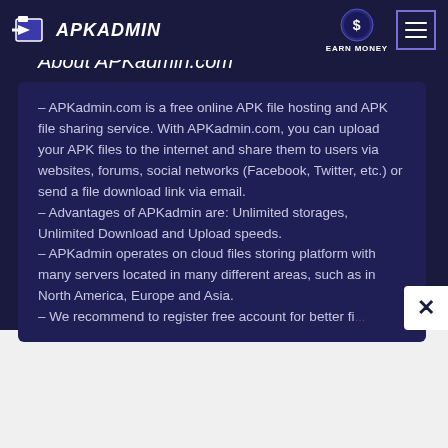APKADMIN | About APKadmin.com
About APKadmin.com
– APKadmin.com is a free online APK file hosting and APK file sharing service. With APKadmin.com, you can upload your APK files to the internet and share them to users via websites, forums, social networks (Facebook, Twitter, etc.) or send a file download link via email.
– Advantages of APKadmin are: Unlimited storages, Unlimited Download and Upload speeds.
– APKadmin operates on cloud files storing platform with many servers located in many different areas, such as in North America, Europe and Asia.
– We recommend to register free account for better file management and file statistics. Upload APK Fi...